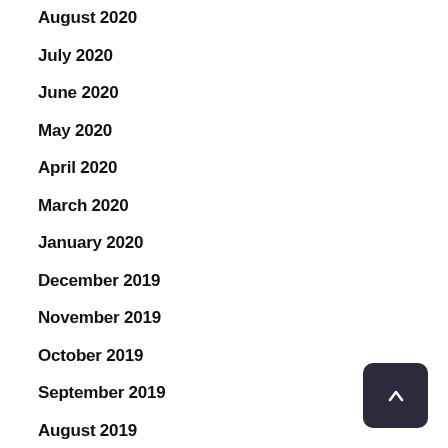August 2020
July 2020
June 2020
May 2020
April 2020
March 2020
January 2020
December 2019
November 2019
October 2019
September 2019
August 2019
July 2019